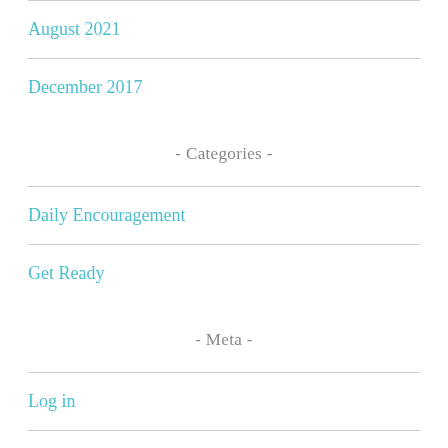August 2021
December 2017
- Categories -
Daily Encouragement
Get Ready
- Meta -
Log in